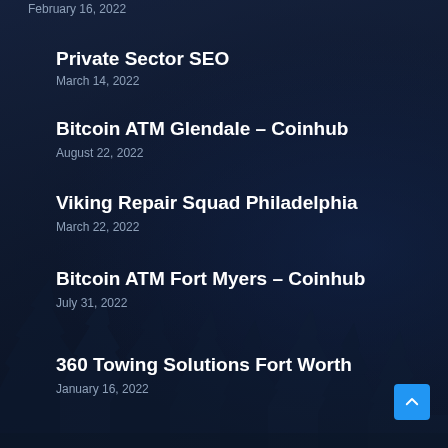February 16, 2022
Private Sector SEO
March 14, 2022
Bitcoin ATM Glendale – Coinhub
August 22, 2022
Viking Repair Squad Philadelphia
March 22, 2022
Bitcoin ATM Fort Myers – Coinhub
July 31, 2022
360 Towing Solutions Fort Worth
January 16, 2022